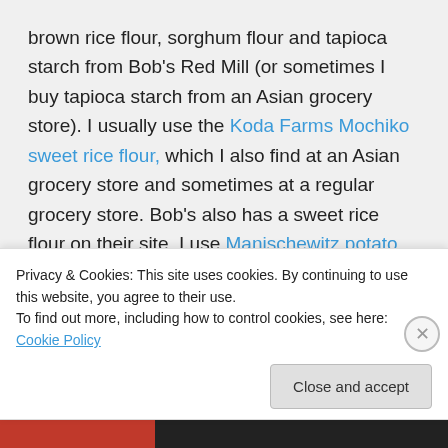brown rice flour, sorghum flour and tapioca starch from Bob's Red Mill (or sometimes I buy tapioca starch from an Asian grocery store). I usually use the Koda Farms Mochiko sweet rice flour, which I also find at an Asian grocery store and sometimes at a regular grocery store. Bob's also has a sweet rice flour on their site. I use Manischewitz potato starch (I buy
Privacy & Cookies: This site uses cookies. By continuing to use this website, you agree to their use.
To find out more, including how to control cookies, see here: Cookie Policy